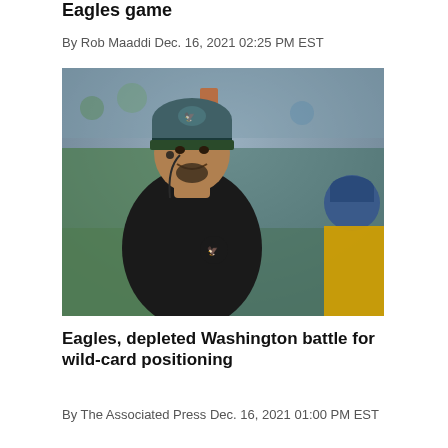Eagles game
By Rob Maaddi Dec. 16, 2021 02:25 PM EST
[Figure (photo): A man wearing a Philadelphia Eagles beanie hat and black Eagles jacket stands on a football field sideline, looking upward and smiling slightly. There is an orange pylon and a blurred stadium background visible. Another person in a blue cap and yellow vest is partially visible on the right.]
Eagles, depleted Washington battle for wild-card positioning
By The Associated Press Dec. 16, 2021 01:00 PM EST